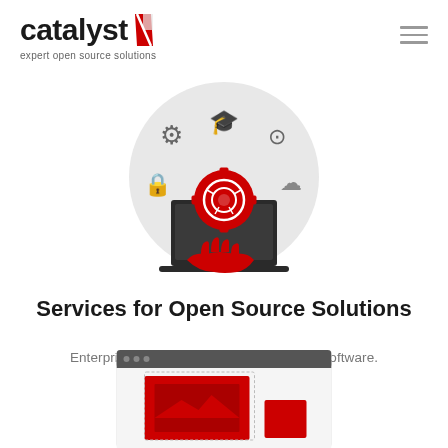[Figure (logo): Catalyst logo with red lightning bolt slash mark and text 'catalyst' in bold black, with tagline 'expert open source solutions' below]
[Figure (illustration): Circular grey background illustration showing a laptop with a red hand offering a red gear/circuit badge, surrounded by grey icons: graduation cap, code symbol, open source logo, lock, and cloud]
Services for Open Source Solutions
Enterprise-level services for open source software.
[Figure (illustration): Partial view of a browser window mockup with grey header bar and dots, containing a red image placeholder and red square element]